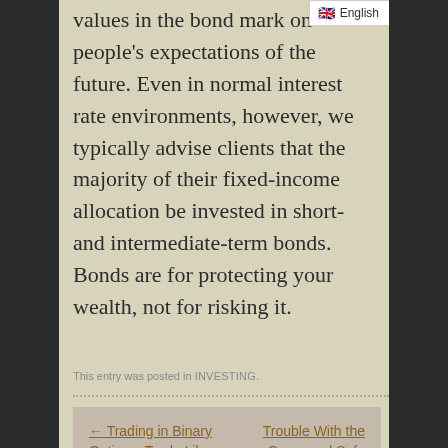values in the bond mark… on people's expectations of the future. Even in normal interest rate environments, however, we typically advise clients that the majority of their fixed-income allocation be invested in short- and intermediate-term bonds. Bonds are for protecting your wealth, not for risking it.
This entry was posted in INVESTING.
← Trading in Binary Options: Trade Like a Pro     Trouble With the Curve and Safe Investing →